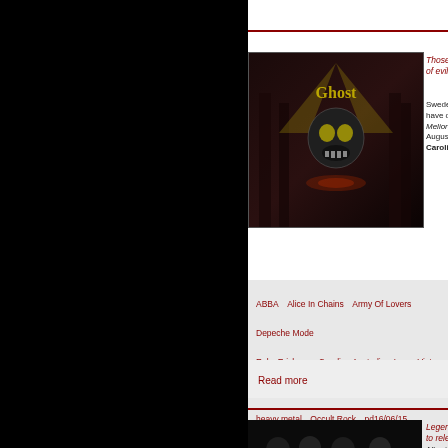[Figure (photo): Ghost album art cover - Meliora, dark cathedral with skull imagery and spotlights]
Those purveyors of evil are s...
Sweden's Ghost have decla... Meliora, would be August 21... Caroli
ABBA   Alice In Chains   Army Of Lovers   Depeche Mode   Roky Erickson   Caroline Australia   Loma Vista Recordings   heavy metal   Occult Rock   pd16/06/15   International News
Read more
[Figure (photo): Band photo - four people posing in dark setting]
Legends prepare to release...
After taking a trip back in tim... the last studio album Tragic...